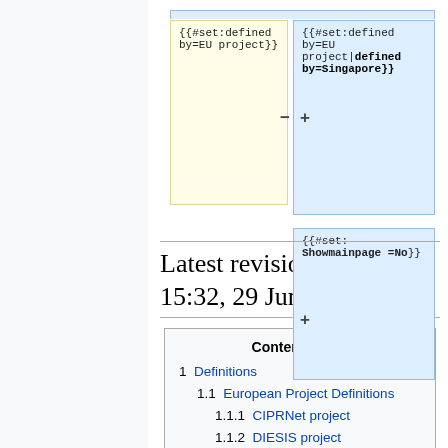[Figure (screenshot): Wiki diff view showing two code boxes. Left yellow box: '{{#set:defined by=EU project}}' with minus sign. Right blue box 1: '{{#set:defined by=EU project|defined by=Singapore}}' with plus sign and bold highlight on 'defined by=Singapore}}'. Right blue box 2: '{{#set: Showmainpage =No}}' with plus sign.]
Latest revision as of 15:32, 29 June 2019
| Contents [hide] |
| --- |
| 1 Definitions |
| 1.1 European Project Definitions |
| 1.1.1 CIPRNet project |
| 1.1.2 DIESIS project |
| 1.2 National Definitions |
| 1.2.1 Singapore |